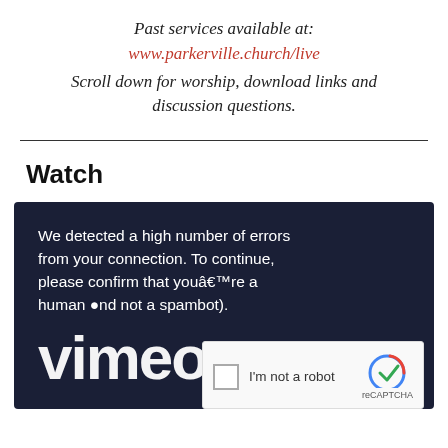Past services available at:
www.parkerville.church/live
Scroll down for worship, download links and discussion questions.
Watch
[Figure (screenshot): Dark blue video embed block showing a CAPTCHA error message: 'We detected a high number of errors from your connection. To continue, please confirm that youâ€™re a human (and not a spambot).' with partial Vimeo logo text and a reCAPTCHA 'I'm not a robot' checkbox widget.]